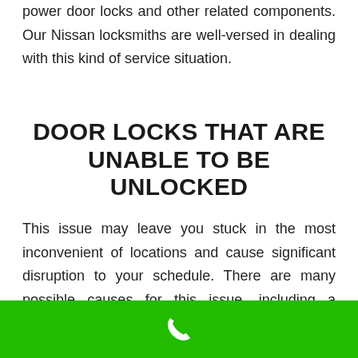power door locks and other related components. Our Nissan locksmiths are well-versed in dealing with this kind of service situation.
DOOR LOCKS THAT ARE UNABLE TO BE UNLOCKED
This issue may leave you stuck in the most inconvenient of locations and cause significant disruption to your schedule. There are many possible causes for this issue, including a damaged key, a frozen lock, a
[Figure (other): Green bar at bottom with white phone icon]